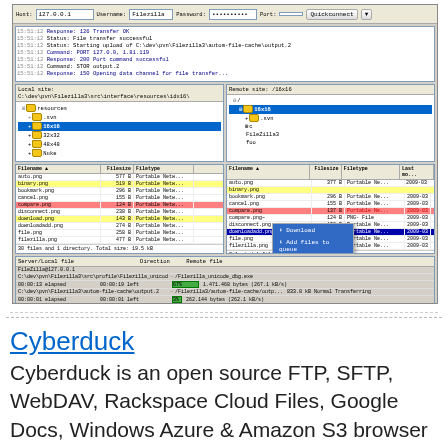[Figure (screenshot): FileZilla FTP client screenshot showing a file transfer session with local and remote file panels, file listings with highlighted rows, a context menu with options including Download and Add files to queue, and a transfer queue panel at the bottom showing active transfers.]
Cyberduck
Cyberduck is an open source FTP, SFTP, WebDAV, Rackspace Cloud Files, Google Docs, Windows Azure & Amazon S3 browser for Mac and Windows. It features an